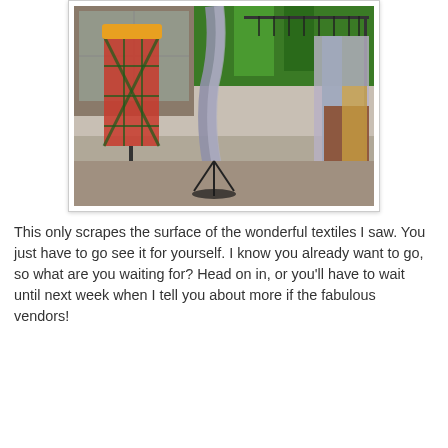[Figure (photo): Photo of a clothing/textile display in a shop: mannequin with plaid outfit on the left, a scarf hanging from a stand in the center, and a rack of colorful scarves/textiles on the right. Indoor retail setting with carpet floor.]
This only scrapes the surface of the wonderful textiles I saw. You just have to go see it for yourself. I know you already want to go, so what are you waiting for? Head on in, or you'll have to wait until next week when I tell you about more if the fabulous vendors!